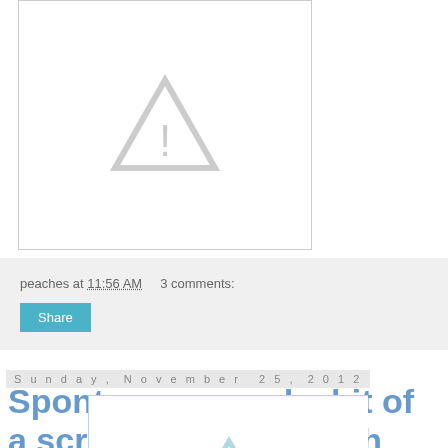[Figure (other): Image placeholder with warning/exclamation triangle icon, white background with light gray border]
peaches at 11:56 AM    3 comments:
Share
Sunday, November 25, 2012
Spontaneous and a bit of a scruffy birthday bash
[Figure (other): Image placeholder with warning/exclamation triangle icon, white background with light blue border]